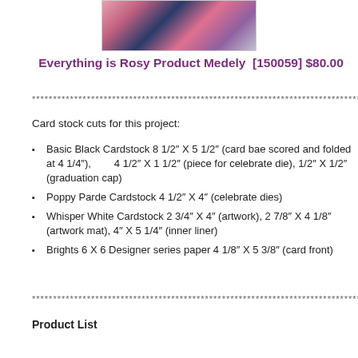[Figure (photo): Partial product image showing colorful pink, blue and purple card stock/paper materials]
Everything is Rosy Product Medely  [150059] $80.00
************************************************************************************
Card stock cuts for this project:
Basic Black Cardstock 8 1/2” X 5 1/2” (card bae scored and folded at 4 1/4”),        4 1/2” X 1 1/2” (piece for celebrate die), 1/2” X 1/2” (graduation cap)
Poppy Parde Cardstock 4 1/2” X 4” (celebrate dies)
Whisper White Cardstock 2 3/4” X 4” (artwork), 2 7/8” X 4 1/8” (artwork mat), 4” X 5 1/4” (inner liner)
Brights 6 X 6 Designer series paper 4 1/8” X 5 3/8” (card front)
************************************************************************************
Product List